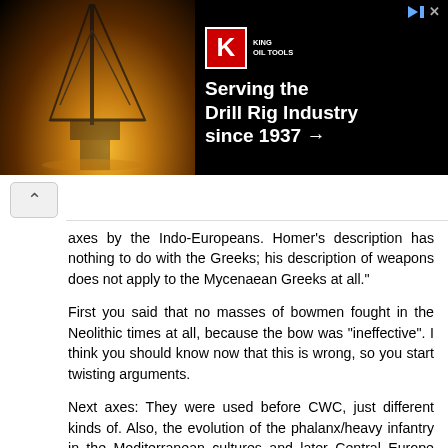[Figure (other): Advertisement banner for King Oil Tools: 'Serving the Drill Rig Industry since 1937 →' with King logo (red K) and oil rig photo background]
axes by the Indo-Europeans. Homer's description has nothing to do with the Greeks; his description of weapons does not apply to the Mycenaean Greeks at all."
First you said that no masses of bowmen fought in the Neolithic times at all, because the bow was "ineffective". I think you should know now that this is wrong, so you start twisting arguments.
Next axes: They were used before CWC, just different kinds of. Also, the evolution of the phalanx/heavy infantry in the Mediterranean cultures and later Central Europe during Hallstatt too btw obvious.
Mycenaeans obviously used bows in warfare, its ridiculous to say otherwise!
Also, you can quit your talks about "no cavalry before Iron